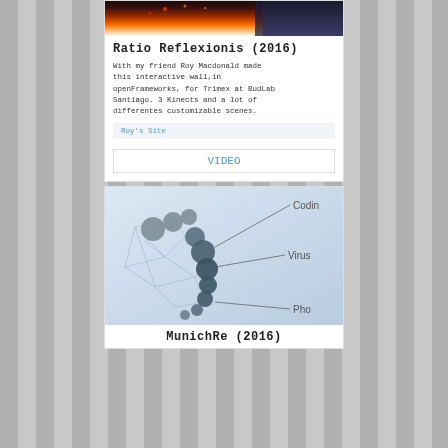[Figure (photo): Fire and dark smoky background image for Ratio Reflexionis project]
Ratio Reflexionis (2016)
With my friend Roy Macdonald made this interactive wall,in openFrameworks, for Trimex at BudLab Santiago. 3 Kinects and a lot of differentes customizable scenes.
Roy's Site
VIDEO
[Figure (screenshot): Network graph visualization with circles and lines, labeled with Coding, Virus, Pho (partial) — MunichRe project]
MunichRe (2016)